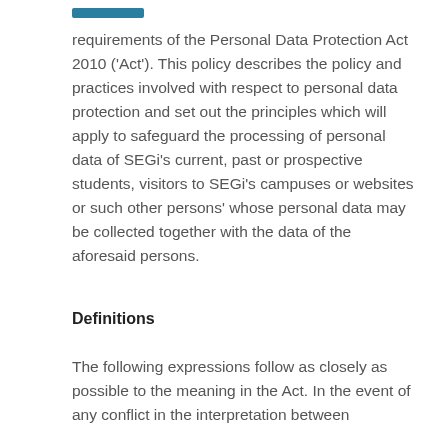requirements of the Personal Data Protection Act 2010 ('Act'). This policy describes the policy and practices involved with respect to personal data protection and set out the principles which will apply to safeguard the processing of personal data of SEGi's current, past or prospective students, visitors to SEGi's campuses or websites or such other persons' whose personal data may be collected together with the data of the aforesaid persons.
Definitions
The following expressions follow as closely as possible to the meaning in the Act. In the event of any conflict in the interpretation between